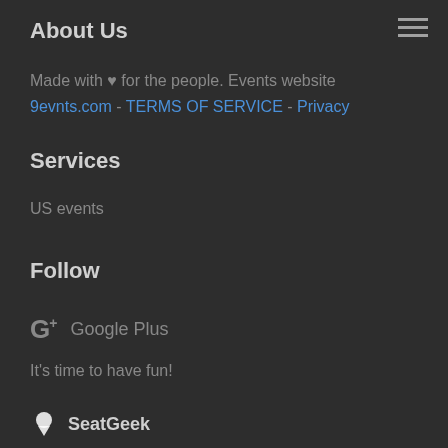About Us
Made with ♥ for the people. Events website
9evnts.com - TERMS OF SERVICE - Privacy
Services
US events
Follow
G+ Google Plus
It's time to have fun!
SeatGeek